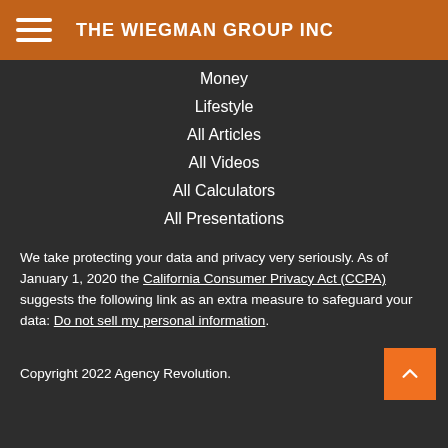THE WIEGMAN GROUP INC
Money
Lifestyle
All Articles
All Videos
All Calculators
All Presentations
We take protecting your data and privacy very seriously. As of January 1, 2020 the California Consumer Privacy Act (CCPA) suggests the following link as an extra measure to safeguard your data: Do not sell my personal information.
Copyright 2022 Agency Revolution.